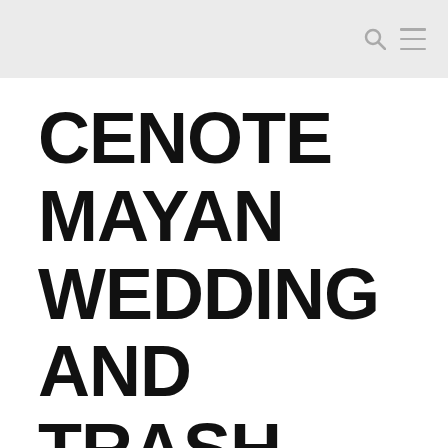CENOTE MAYAN WEDDING AND TRASH THE DRESS – AMY AND CALVIN